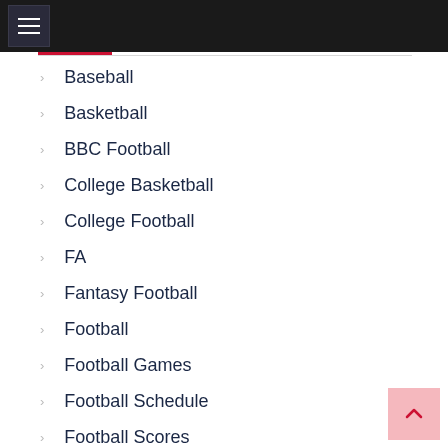Navigation menu header bar
Baseball
Basketball
BBC Football
College Basketball
College Football
FA
Fantasy Football
Football
Football Games
Football Schedule
Football Scores